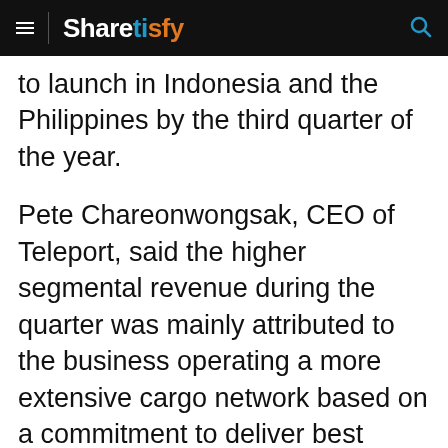Sharetisfy
to launch in Indonesia and the Philippines by the third quarter of the year.
Pete Chareonwongsak, CEO of Teleport, said the higher segmental revenue during the quarter was mainly attributed to the business operating a more extensive cargo network based on a commitment to deliver best value at lowest cost.
In 1Q2022, Teleport benefited from the return of passenger flights whereby 40% of